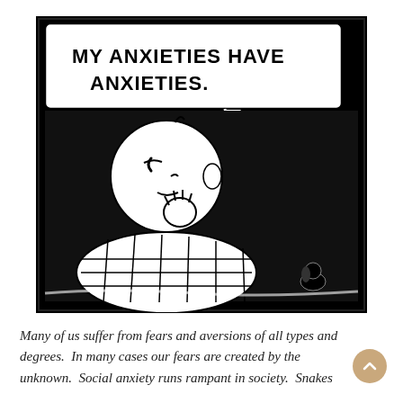[Figure (illustration): A black-and-white comic strip panel (Peanuts style) showing Charlie Brown sitting in bed at night with a speech bubble reading 'MY ANXIETIES HAVE ANXIETIES.' The background is black, Charlie Brown has a round white head and is wearing a plaid shirt/blanket. Snoopy is visible lying in the background.]
Many of us suffer from fears and aversions of all types and degrees.  In many cases our fears are created by the unknown.  Social anxiety runs rampant in society.  Snakes